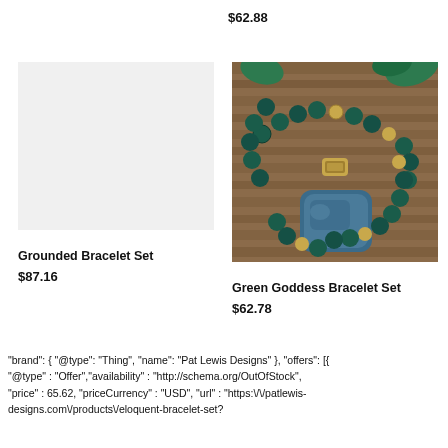$62.88
[Figure (photo): Light grey placeholder image for Grounded Bracelet Set product]
Grounded Bracelet Set
$87.16
[Figure (photo): Photo of a green goddess bracelet set featuring dark teal/green beads with gold accents and a large blue stone pendant, on a wooden surface]
Green Goddess Bracelet Set
$62.78
"brand": { "@type": "Thing", "name": "Pat Lewis Designs" }, "offers": [{ "@type" : "Offer","availability" : "http://schema.org/OutOfStock", "price" : 65.62, "priceCurrency" : "USD", "url" : "https://Vpatlewis-designs.com\/products\/eloquent-bracelet-set?